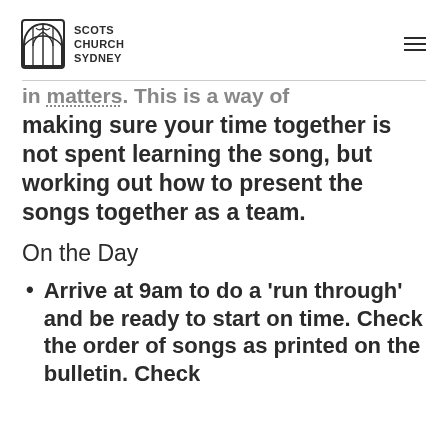Scots Church Sydney
making sure your time together is not spent learning the song, but working out how to present the songs together as a team.
On the Day
Arrive at 9am to do a ‘run through’ and be ready to start on time. Check the order of songs as printed on the bulletin. Check